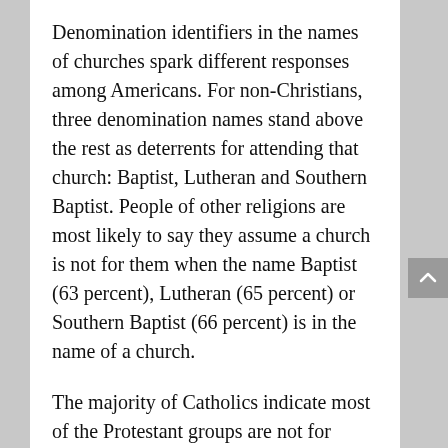Denomination identifiers in the names of churches spark different responses among Americans. For non-Christians, three denomination names stand above the rest as deterrents for attending that church: Baptist, Lutheran and Southern Baptist. People of other religions are most likely to say they assume a church is not for them when the name Baptist (63 percent), Lutheran (65 percent) or Southern Baptist (66 percent) is in the name of a church.
The majority of Catholics indicate most of the Protestant groups are not for them. Only Baptist (49 percent) and non-denominational